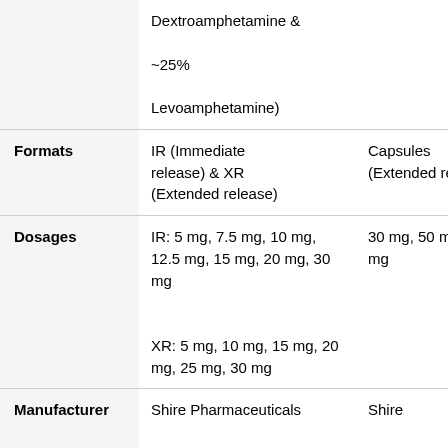|  | Adderall | Vyvanse |
| --- | --- | --- |
|  | Dextroamphetamine & ~25% Levoamphetamine |  |
| Formats | IR (Immediate release) & XR (Extended release) | Capsules (Extended release) |
| Dosages | IR: 5 mg, 7.5 mg, 10 mg, 12.5 mg, 15 mg, 20 mg, 30 mg

XR: 5 mg, 10 mg, 15 mg, 20 mg, 25 mg, 30 mg | 30 mg, 50 mg, 70 mg |
| Manufacturer | Shire Pharmaceuticals | Shire Pharmaceuticals |